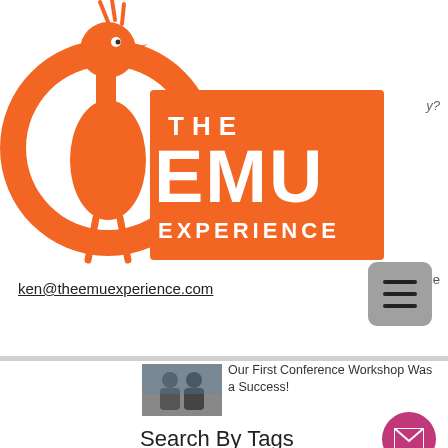[Figure (logo): The Emu Experience logo: orange circle with emu illustration on left, orange rectangle with white text THE EMU EXPERIENCE on right]
y?
ence
ken@theemuexperience.com
[Figure (other): Hamburger menu button (three horizontal lines) on grey square background]
[Figure (other): Navigation bar divider]
[Figure (photo): Small thumbnail photo of two people at a conference]
Our First Conference Workshop Was a Success!
Search By Tags
[Figure (other): Pink/magenta circular mail button with envelope icon]